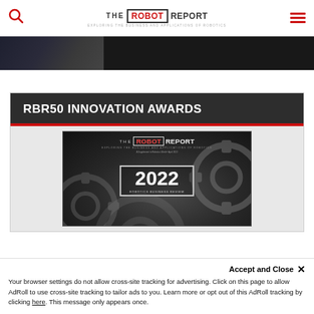THE ROBOT REPORT — EXPLORING THE BUSINESS AND APPLICATIONS OF ROBOTICS
[Figure (screenshot): Dark image strip showing partial photo, likely a robotics-related image]
RBR50 INNOVATION AWARDS
[Figure (photo): Magazine cover: The Robot Report 2022 Robotics Business Review supplement, showing gears and the year 2022 prominently displayed]
Your browser settings do not allow cross-site tracking for advertising. Click on this page to allow AdRoll to use cross-site tracking to tailor ads to you. Learn more or opt out of this AdRoll tracking by clicking here. This message only appears once.